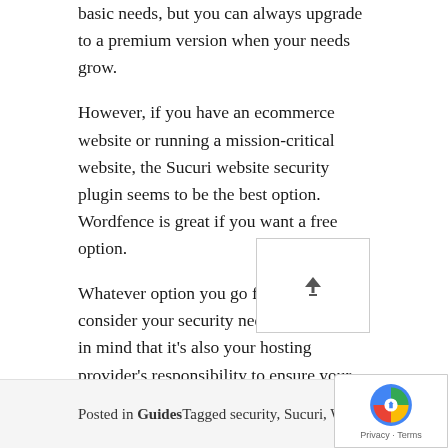basic needs, but you can always upgrade to a premium version when your needs grow.
However, if you have an ecommerce website or running a mission-critical website, the Sucuri website security plugin seems to be the best option. Wordfence is great if you want a free option.
Whatever option you go for, always consider your security needs first. Keep in mind that it's also your hosting provider's responsibility to ensure your site's security.
Posted in GuidesTagged security, Sucuri, WordFence